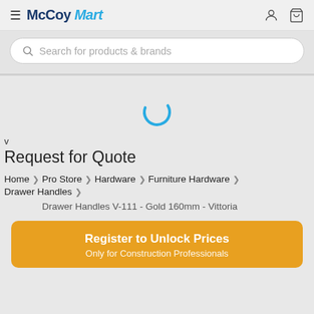[Figure (screenshot): McCoy Mart e-commerce website header with logo, hamburger menu, user and cart icons]
[Figure (screenshot): Search bar with placeholder text 'Search for products & brands']
[Figure (screenshot): Loading spinner (blue arc circle) in the center of the page]
Request for Quote
Home > Pro Store > Hardware > Furniture Hardware > Drawer Handles > Drawer Handles V-111 - Gold 160mm - Vittoria
Register to Unlock Prices
Only for Construction Professionals